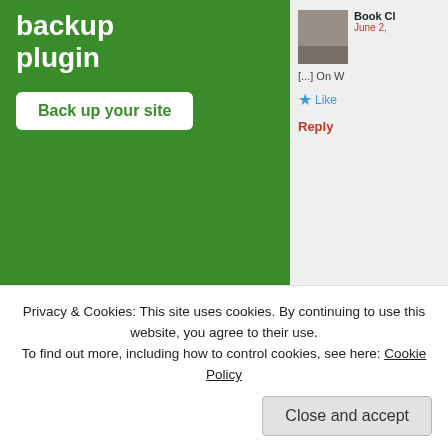[Figure (screenshot): Green advertisement area showing 'backup plugin' title and 'Back up your site' button on a dark gray background]
REPORT THIS AD
[Figure (photo): Partial comment box showing avatar image of person at desk, commenter name 'Book Cl', date 'June 2,', excerpt '[...] On W', Like button, and Reply link]
[Figure (photo): Partial grayscale image visible in lower right of sidebar]
Privacy & Cookies: This site uses cookies. By continuing to use this website, you agree to their use.
To find out more, including how to control cookies, see here: Cookie Policy
Close and accept